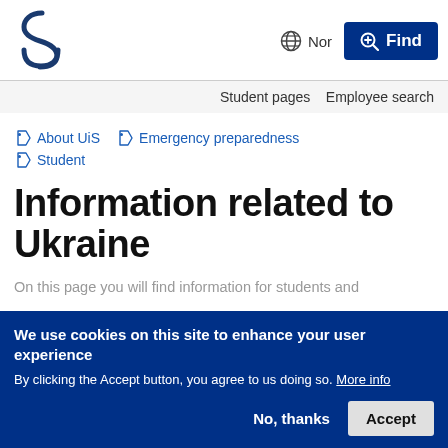[Figure (logo): UiS (University of Stavanger) logo — stylized S and U letters in dark blue]
Nor   Find
Student pages   Employee search
About UiS
Emergency preparedness
Student
Information related to Ukraine
On this page you will find information for students and
We use cookies on this site to enhance your user experience
By clicking the Accept button, you agree to us doing so. More info
No, thanks   Accept